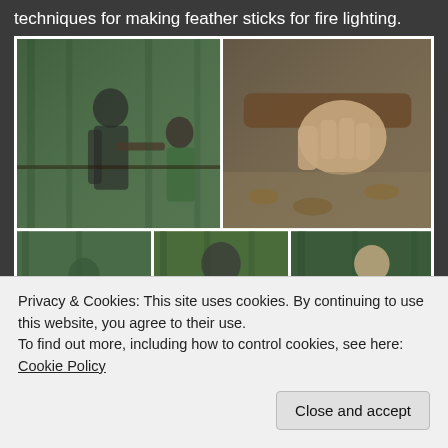techniques for making feather sticks for fire lighting.
[Figure (photo): A collage of 5 photos showing people in a woodland setting making feather sticks for fire lighting. Top row: two people working with sticks in a forest, and a close-up of a hand gripping a stick/branch. Bottom row: three individual photos each showing a person working with wood or tools in a forest clearing.]
Privacy & Cookies: This site uses cookies. By continuing to use this website, you agree to their use.
To find out more, including how to control cookies, see here: Cookie Policy
Close and accept